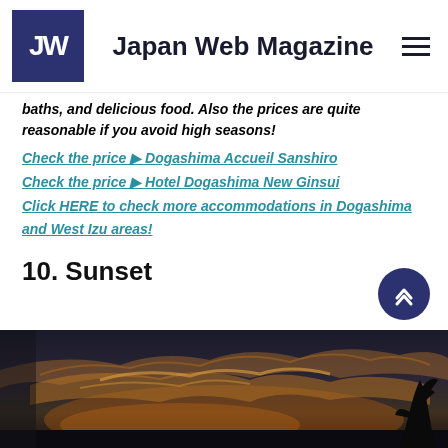Japan Web Magazine
baths, and delicious food. Also the prices are quite reasonable if you avoid high seasons!
Check the price ▶ Dogashima Accueil Sanshiro
Check the price ▶ Hotel Dogashima New Ginsui
Click HERE to check more accommodations in Dogashima and West Izu areas!
10. Sunset
[Figure (photo): Sunset sky over Dogashima/West Izu area, showing dramatic clouds with orange glow against a dark sky and silhouetted trees on the right.]